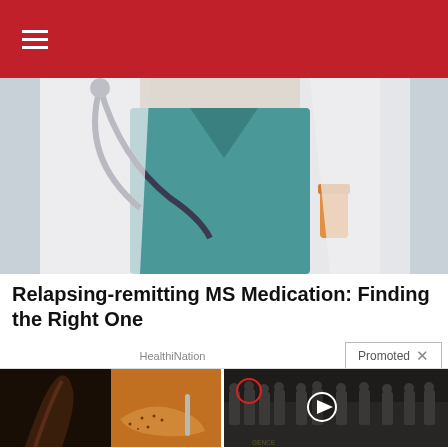≡
[Figure (photo): Doctor in white coat with stethoscope holding pill bottle]
Relapsing-remitting MS Medication: Finding the Right One
HealthiNation
Promoted ×
[Figure (photo): Fitness woman and spice on spoon composite image]
A Teaspoon On An Empty Stomach Burns Fat Like Crazy!
🔥 126,897
[Figure (photo): Group of men in suits at CIA with red circle highlight and play button overlay]
Biden Probably Wants This Video Destroyed — US Dollar On Path Towards Replacement?
🔥 454,723